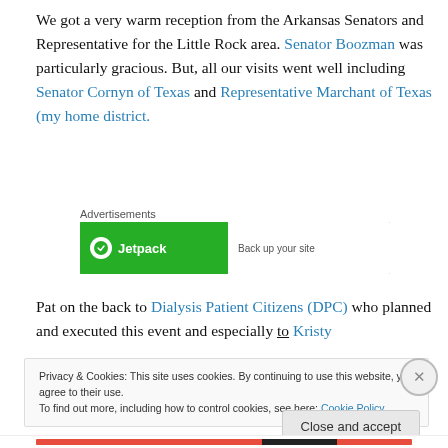We got a very warm reception from the Arkansas Senators and Representative for the Little Rock area. Senator Boozman was particularly gracious. But, all our visits went well including Senator Cornyn of Texas and Representative Marchant of Texas (my home district.
[Figure (other): Advertisement banner for Jetpack plugin showing green background with logo and 'Back up your site' call to action]
Pat on the back to Dialysis Patient Citizens (DPC) who planned and executed this event and especially to Kristy
Privacy & Cookies: This site uses cookies. By continuing to use this website, you agree to their use.
To find out more, including how to control cookies, see here: Cookie Policy
Close and accept